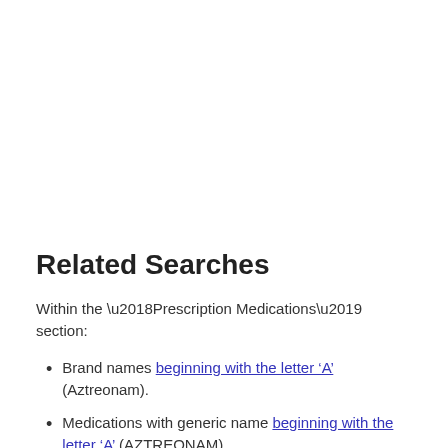Related Searches
Within the ‘Prescription Medications’ section:
Brand names beginning with the letter ‘A’ (Aztreonam).
Medications with generic name beginning with the letter ‘A’ (AZTREONAM).